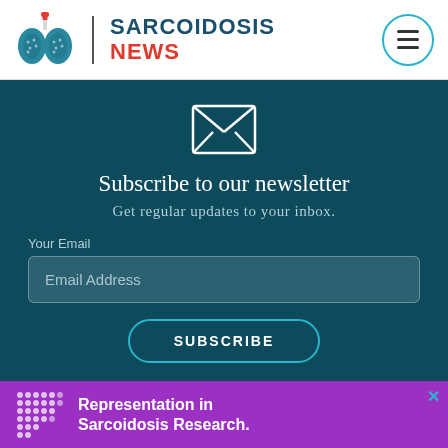[Figure (logo): Sarcoidosis News logo: stylized lungs in teal with red spine/trachea, vertical bar divider, site name SARCOIDOSIS NEWS in bold]
Subscribe to our newsletter
Get regular updates to your inbox.
Your Email
Email Address
SUBSCRIBE
Representation in Sarcoidosis Research.
Advice, Stories, News... Sto